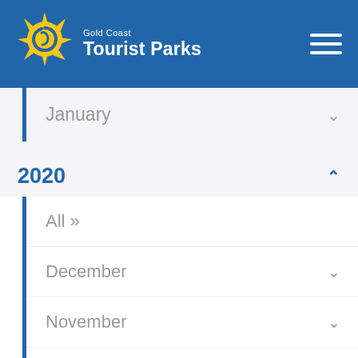Gold Coast Tourist Parks
January
2020
All »
December
November
October
September
July